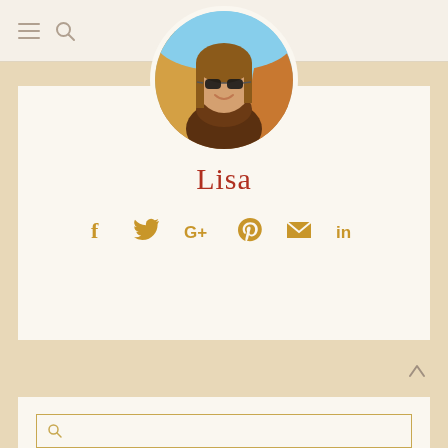Navigation header with hamburger menu and search icon
[Figure (photo): Circular profile photo of Lisa, a woman wearing sunglasses and a brown scarf, smiling outdoors in front of orange/autumn background]
Lisa
[Figure (infographic): Social media icons row: Facebook, Twitter, Google+, Pinterest, Email, LinkedIn — all in golden/amber color]
LEAVE A COMMENT